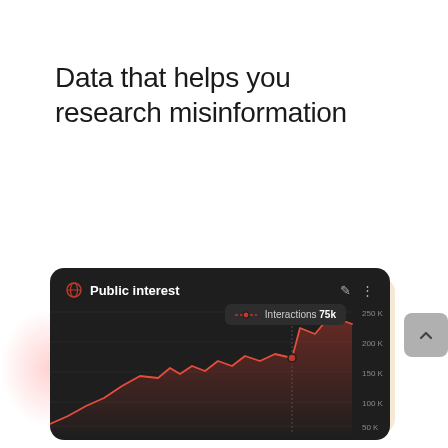Data that helps you research misinformation
[Figure (line-chart): Dark-themed area/line chart showing 'Interactions 75k' with a red line rising from bottom-left to upper-right with fluctuations, y-axis labeled 50K, 100K, 150K, 200K, 250K]